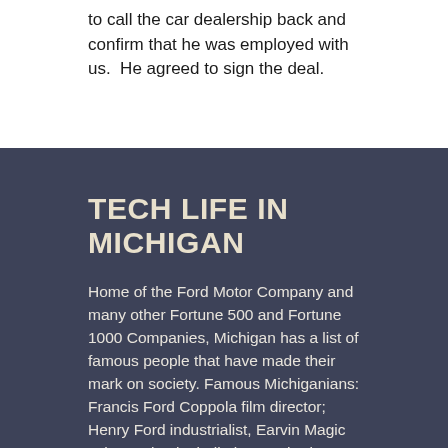to call the car dealership back and confirm that he was employed with us.  He agreed to sign the deal.
TECH LIFE IN MICHIGAN
Home of the Ford Motor Company and many other Fortune 500 and Fortune 1000 Companies, Michigan has a list of famous people that have made their mark on society. Famous Michiganians: Francis Ford Coppola film director; Henry Ford industrialist, Earvin Magic Johnson basketball player; Charles A. Lindbergh aviator; Madonnasingers Stevie Wonder